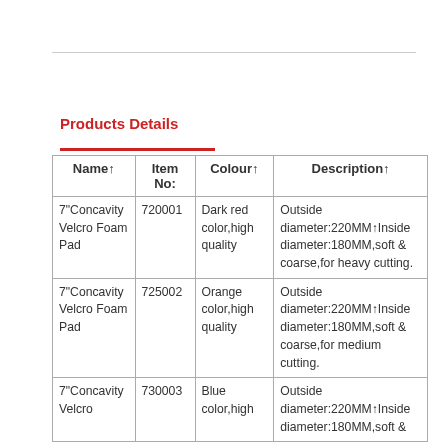Products Details
| Name↑ | Item No: | Colour↑ | Description↑ |
| --- | --- | --- | --- |
| 7"Concavity Velcro Foam Pad | 720001 | Dark red color,high quality | Outside diameter:220MM↑Inside diameter:180MM,soft & coarse,for heavy cutting. |
| 7"Concavity Velcro Foam Pad | 725002 | Orange color,high quality | Outside diameter:220MM↑Inside diameter:180MM,soft & coarse,for medium cutting. |
| 7"Concavity Velcro | 730003 | Blue color,high | Outside diameter:220MM↑Inside diameter:180MM,soft & |